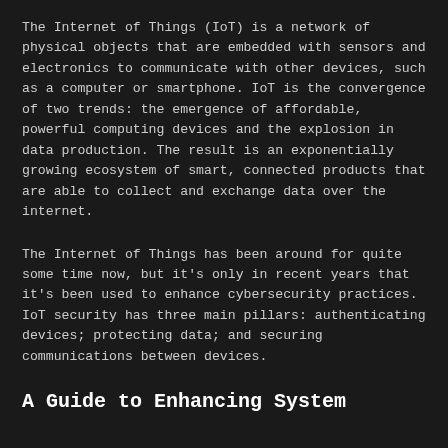The Internet of Things (IoT) is a network of physical objects that are embedded with sensors and electronics to communicate with other devices, such as a computer or smartphone. IoT is the convergence of two trends: the emergence of affordable, powerful computing devices and the explosion in data production. The result is an exponentially growing ecosystem of smart, connected products that are able to collect and exchange data over the internet.
The Internet of Things has been around for quite some time now, but it's only in recent years that it's been used to enhance cybersecurity practices. IoT security has three main pillars: authenticating devices; protecting data; and securing communications between devices.
A Guide to Enhancing System